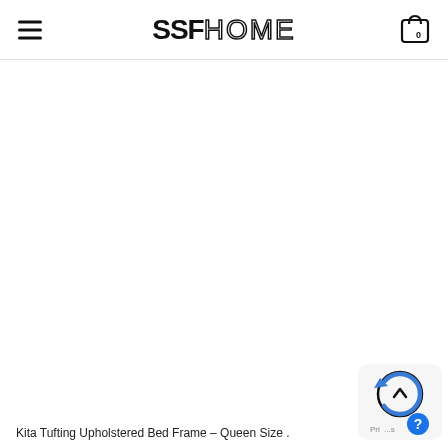SSF HOME
[Figure (screenshot): Blank white content area below the SSF HOME navigation header, product image area not loaded]
Kita Tufting Upholstered Bed Frame – Queen Size .
[Figure (other): Refresh/back-to-top widget icon in bottom right corner with circular arrow and help button]